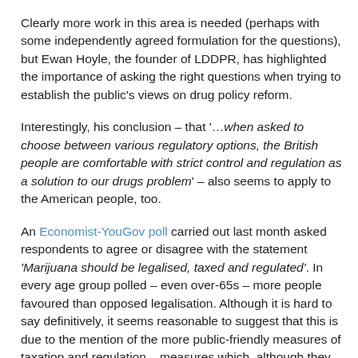Clearly more work in this area is needed (perhaps with some independently agreed formulation for the questions), but Ewan Hoyle, the founder of LDDPR, has highlighted the importance of asking the right questions when trying to establish the public's views on drug policy reform.
Interestingly, his conclusion – that '…when asked to choose between various regulatory options, the British people are comfortable with strict control and regulation as a solution to our drugs problem' – also seems to apply to the American people, too.
An Economist-YouGov poll carried out last month asked respondents to agree or disagree with the statement 'Marijuana should be legalised, taxed and regulated'. In every age group polled – even over-65s – more people favoured than opposed legalisation. Although it is hard to say definitively, it seems reasonable to suggest that this is due to the mention of the more public-friendly measures of taxation and regulation – measures which, although they go hand in hand with legalisation, are so often omitted in opinion polls